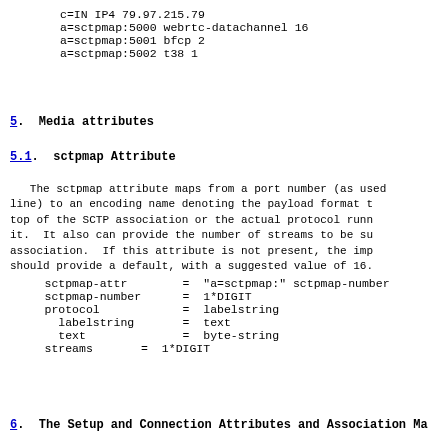c=IN IP4 79.97.215.79
a=sctpmap:5000 webrtc-datachannel 16
a=sctpmap:5001 bfcp 2
a=sctpmap:5002 t38 1
5.  Media attributes
5.1.  sctpmap Attribute
The sctpmap attribute maps from a port number (as used in the m=
line) to an encoding name denoting the payload format t
top of the SCTP association or the actual protocol runn
it.  It also can provide the number of streams to be su
association.  If this attribute is not present, the imp
should provide a default, with a suggested value of 16.
sctpmap-attr        = "a=sctpmap:" sctpmap-number
sctpmap-number      = 1*DIGIT
protocol            = labelstring
  labelstring       =  text
  text              =  byte-string
streams     = 1*DIGIT
6.  The Setup and Connection Attributes and Association Ma